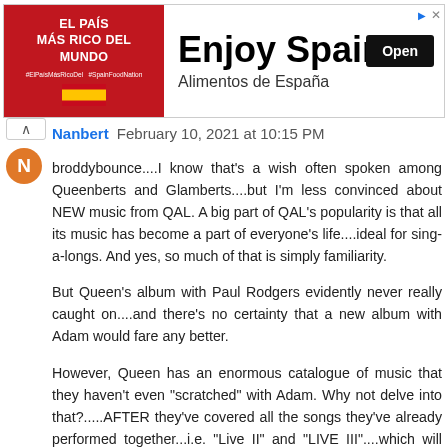[Figure (other): Advertisement banner for 'Enjoy Spain / Alimentos de España' with red left panel showing 'EL PAÍS MÁS RICO DEL MUNDO' text and Spanish flag, and right panel with 'Enjoy Spain' heading, 'Alimentos de España' subheading, and a black 'Open' button.]
Nanbert  February 10, 2021 at 10:15 PM

broddybounce....I know that's a wish often spoken among Queenberts and Glamberts....but I'm less convinced about NEW music from QAL. A big part of QAL's popularity is that all its music has become a part of everyone's life....ideal for sing-a-longs. And yes, so much of that is simply familiarity.

But Queen's album with Paul Rodgers evidently never really caught on....and there's no certainty that a new album with Adam would fare any better.

However, Queen has an enormous catalogue of music that they haven't even "scratched" with Adam. Why not delve into that?.....AFTER they've covered all the songs they've already performed together...i.e. "Live II" and "LIVE III"....which will include a few of Adam's music, too